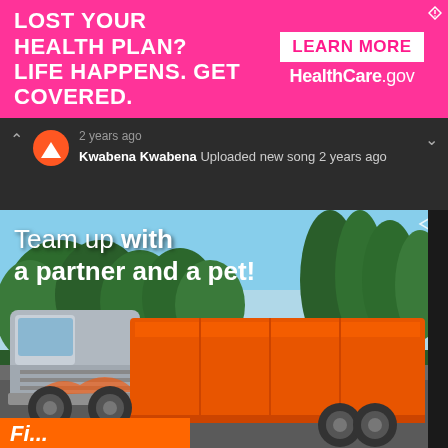[Figure (infographic): Pink banner ad: 'LOST YOUR HEALTH PLAN? LIFE HAPPENS. GET COVERED.' with 'LEARN MORE HealthCare.gov' button on right side]
2 years ago
Kwabena Kwabena Uploaded new song 2 years ago
[Figure (photo): Truck advertisement: 'Team up with a partner and a pet!' showing a semi-truck with orange trailer on a highway surrounded by trees. Orange bar at bottom with italic text beginning 'Fi...']